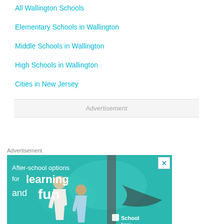All Wallington Schools
Elementary Schools in Wallington
Middle Schools in Wallington
High Schools in Wallington
Cities in New Jersey
Advertisement
Advertisement
[Figure (photo): Advertisement banner showing two young girls looking at an aquarium with text 'After-school options for learning and fun' and School Family logo]